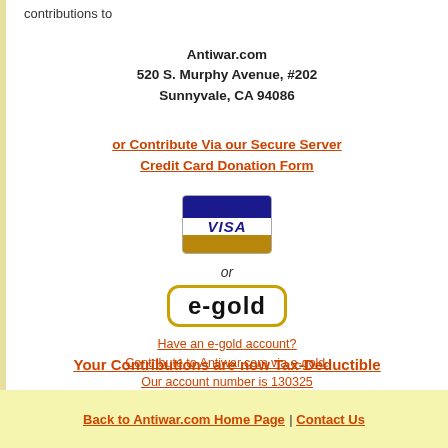contributions to
Antiwar.com
520 S. Murphy Avenue, #202
Sunnyvale, CA 94086
or Contribute Via our Secure Server Credit Card Donation Form
[Figure (logo): VISA credit card logo with blue top stripe, white middle with VISA text in blue italic bold, and gold/brown bottom stripe]
or
[Figure (logo): e-gold logo: bold text 'e-gold' inside a rounded gold-bordered rectangle]
Have an e-gold account?
Contribute to Antiwar.com via e-gold.
Our account number is 130325
Your Contributions are now Tax-Deductible
Back to Antiwar.com Home Page | Contact Us